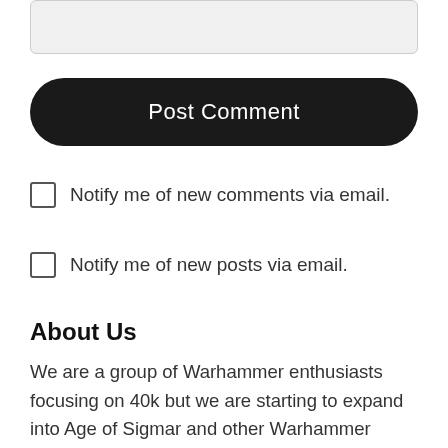[Figure (other): Textarea input stub (partially visible, clipped at top)]
Post Comment
Notify me of new comments via email.
Notify me of new posts via email.
About Us
We are a group of Warhammer enthusiasts focusing on 40k but we are starting to expand into Age of Sigmar and other Warhammer games. Our authors are Krakendoomcool, Pandorasbitzbox, Warbringer, davyArt & Ritual. Featuring The Wolf Lord Project (making all twelve Wolf Lords), Tale of Four Warlords, Lots of conversions, Chaos Space Marines, Space Wolves,  Salamanders,